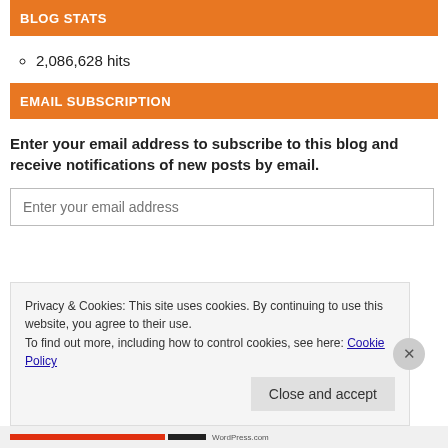BLOG STATS
2,086,628 hits
EMAIL SUBSCRIPTION
Enter your email address to subscribe to this blog and receive notifications of new posts by email.
Enter your email address
Privacy & Cookies: This site uses cookies. By continuing to use this website, you agree to their use.
To find out more, including how to control cookies, see here: Cookie Policy
Close and accept